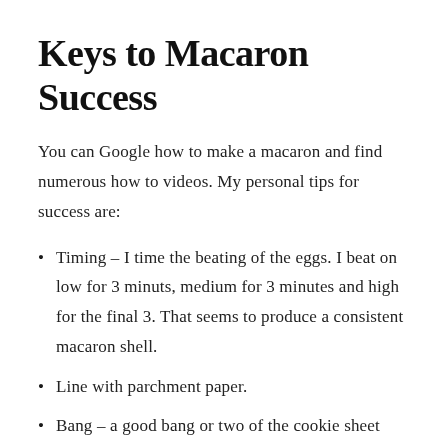Keys to Macaron Success
You can Google how to make a macaron and find numerous how to videos. My personal tips for success are:
Timing – I time the beating of the eggs. I beat on low for 3 minuts, medium for 3 minutes and high for the final 3. That seems to produce a consistent macaron shell.
Line with parchment paper.
Bang – a good bang or two of the cookie sheet after you have piped them. Don't be afraid!
Rest – let them rest and dry out for 30 minutes to